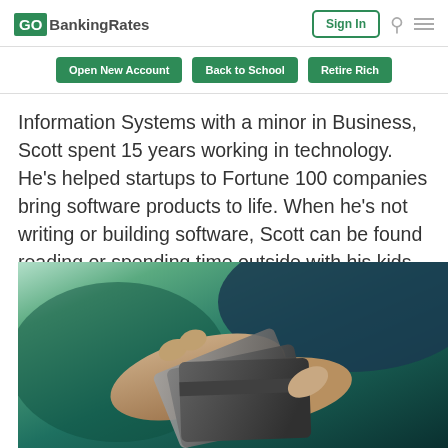GOBankingRates
Open New Account | Back to School | Retire Rich
Information Systems with a minor in Business, Scott spent 15 years working in technology. He's helped startups to Fortune 100 companies bring software products to life. When he's not writing or building software, Scott can be found reading or spending time outside with his kids.
[Figure (photo): Hands holding a credit card or smartphone, teal/green toned background photo]